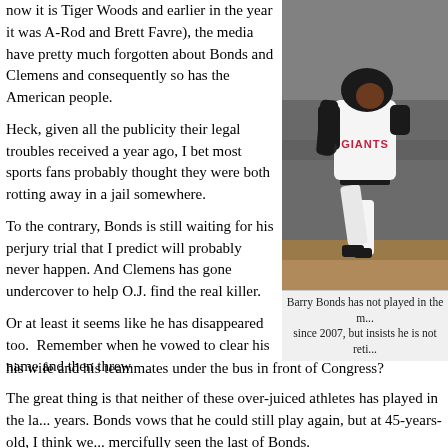now it is Tiger Woods and earlier in the year it was A-Rod and Brett Favre), the media have pretty much forgotten about Bonds and Clemens and consequently so has the American people.
Heck, given all the publicity their legal troubles received a year ago, I bet most sports fans probably thought they were both rotting away in a jail somewhere.
To the contrary, Bonds is still waiting for his perjury trial that I predict will probably never happen. And Clemens has gone undercover to help O.J. find the real killer.
[Figure (photo): Barry Bonds in San Francisco Giants uniform running on field]
Barry Bonds has not played in the m... since 2007, but insists he is not reti...
Or at least it seems like he has disappeared too.  Remember when he vowed to clear his name and then threw his wife and his teammates under the bus in front of Congress?
The great thing is that neither of these over-juiced athletes has played in the la... years. Bonds vows that he could still play again, but at 45-years-old, I think we... mercifully seen the last of Bonds.